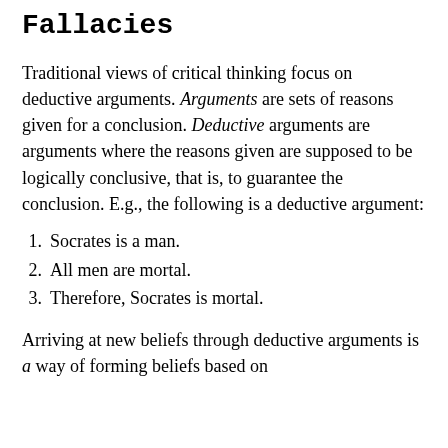Fallacies
Traditional views of critical thinking focus on deductive arguments. Arguments are sets of reasons given for a conclusion. Deductive arguments are arguments where the reasons given are supposed to be logically conclusive, that is, to guarantee the conclusion. E.g., the following is a deductive argument:
1. Socrates is a man.
2. All men are mortal.
3. Therefore, Socrates is mortal.
Arriving at new beliefs through deductive arguments is a way of forming beliefs based on